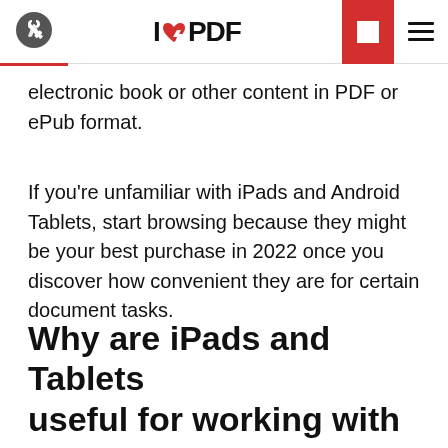ilovepdf
electronic book or other content in PDF or ePub format.
If you're unfamiliar with iPads and Android Tablets, start browsing because they might be your best purchase in 2022 once you discover how convenient they are for certain document tasks.
Why are iPads and Tablets useful for working with